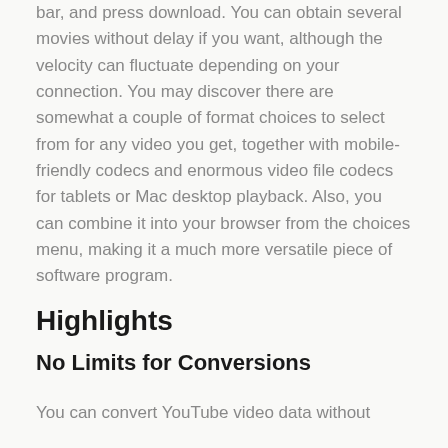bar, and press download. You can obtain several movies without delay if you want, although the velocity can fluctuate depending on your connection. You may discover there are somewhat a couple of format choices to select from for any video you get, together with mobile-friendly codecs and enormous video file codecs for tablets or Mac desktop playback. Also, you can combine it into your browser from the choices menu, making it a much more versatile piece of software program.
Highlights
No Limits for Conversions
You can convert YouTube video data without